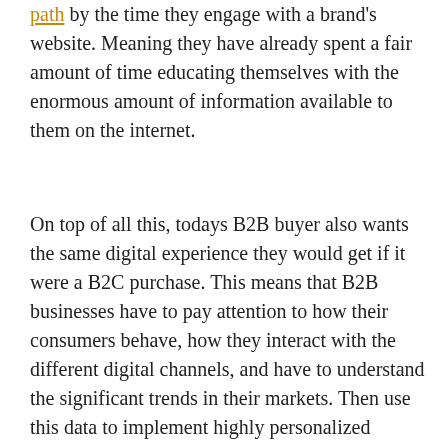path by the time they engage with a brand's website. Meaning they have already spent a fair amount of time educating themselves with the enormous amount of information available to them on the internet.
On top of all this, todays B2B buyer also wants the same digital experience they would get if it were a B2C purchase. This means that B2B businesses have to pay attention to how their consumers behave, how they interact with the different digital channels, and have to understand the significant trends in their markets. Then use this data to implement highly personalized engaging marketing campaigns.